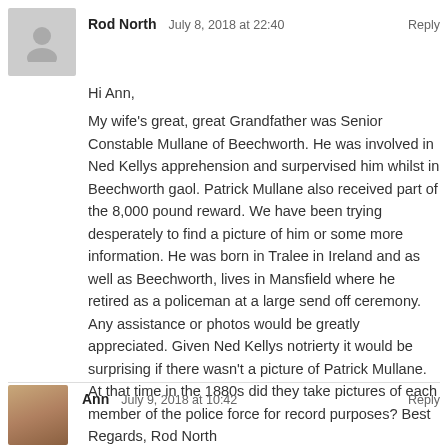Rod North
July 8, 2018 at 22:40
Reply
Hi Ann,
My wife's great, great Grandfather was Senior Constable Mullane of Beechworth. He was involved in Ned Kellys apprehension and surpervised him whilst in Beechworth gaol. Patrick Mullane also received part of the 8,000 pound reward. We have been trying desperately to find a picture of him or some more information. He was born in Tralee in Ireland and as well as Beechworth, lives in Mansfield where he retired as a policeman at a large send off ceremony. Any assistance or photos would be greatly appreciated. Given Ned Kellys notrierty it would be surprising if there wasn't a picture of Patrick Mullane. At that time in the 1880s did they take pictures of each member of the police force for record purposes? Best Regards, Rod North
Ann
July 9, 2018 at 10:42
Reply